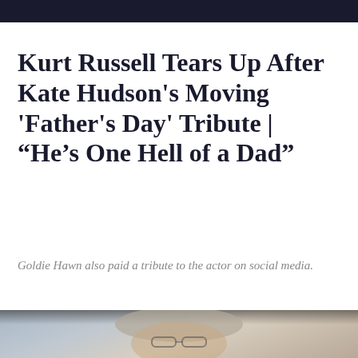Kurt Russell Tears Up After Kate Hudson's Moving 'Father's Day' Tribute | “He’s One Hell of a Dad”
Goldie Hawn also paid a tribute to the actor on social media.
[Figure (photo): Close-up photo of an older man with gray hair and glasses, appearing to be Kurt Russell, photographed outdoors with a blurred background.]